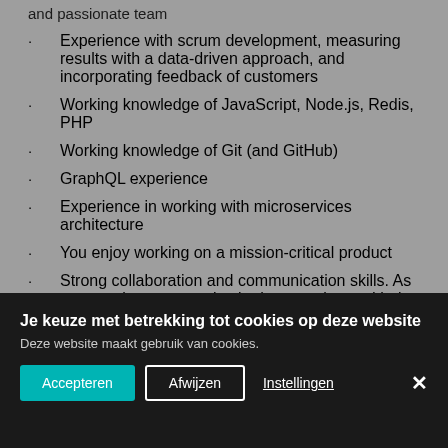and passionate team
Experience with scrum development, measuring results with a data-driven approach, and incorporating feedback of customers
Working knowledge of JavaScript, Node.js, Redis, PHP
Working knowledge of Git (and GitHub)
GraphQL experience
Experience in working with microservices architecture
You enjoy working on a mission-critical product
Strong collaboration and communication skills. As a team player, you enjoy both mentoring and being
Je keuze met betrekking tot cookies op deze website
Deze website maakt gebruik van cookies.
Accepteren | Afwijzen | Instellingen | ×